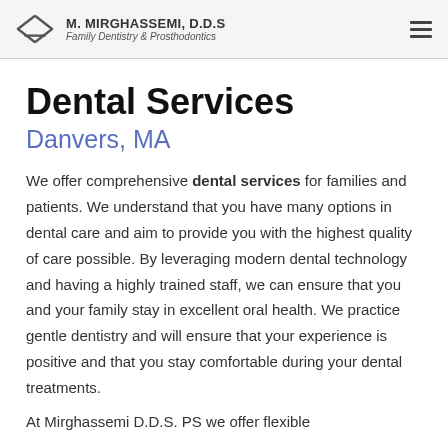M. MIRGHASSEMI, D.D.S — Family Dentistry & Prosthodontics
Dental Services
Danvers, MA
We offer comprehensive dental services for families and patients. We understand that you have many options in dental care and aim to provide you with the highest quality of care possible. By leveraging modern dental technology and having a highly trained staff, we can ensure that you and your family stay in excellent oral health. We practice gentle dentistry and will ensure that your experience is positive and that you stay comfortable during your dental treatments.
At Mirghassemi D.D.S. PS we offer flexible